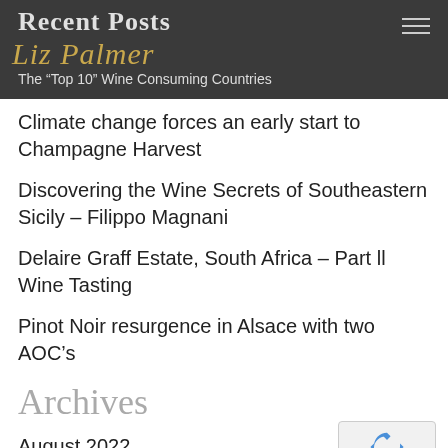Recent Posts
Liz Palmer
The “Top 10” Wine Consuming Countries
Climate change forces an early start to Champagne Harvest
Discovering the Wine Secrets of Southeastern Sicily – Filippo Magnani
Delaire Graff Estate, South Africa – Part ll Wine Tasting
Pinot Noir resurgence in Alsace with two AOC’s
Archives
August 2022
July 2022